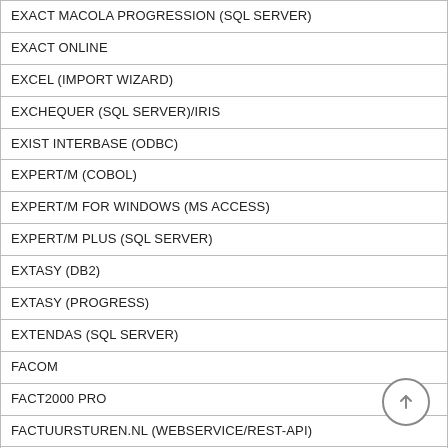| EXACT MACOLA PROGRESSION (SQL SERVER) |
| EXACT ONLINE |
| EXCEL (IMPORT WIZARD) |
| EXCHEQUER (SQL SERVER)/IRIS |
| EXIST INTERBASE (ODBC) |
| EXPERT/M (COBOL) |
| EXPERT/M FOR WINDOWS (MS ACCESS) |
| EXPERT/M PLUS (SQL SERVER) |
| EXTASY (DB2) |
| EXTASY (PROGRESS) |
| EXTENDAS (SQL SERVER) |
| FACOM |
| FACT2000 PRO |
| FACTUURSTUREN.NL (WEBSERVICE/REST-API) |
| FAKTASOL (ACCESS) |
| FASHION IT (HTTP-XML) |
| FASHION PARTNER (INFORMIX/ODBC) |
| Fashion Wholesale Online (REST-API/TOKEN)~testen |
| FDS (ACCESS) |
| FENICE (SQL SERVER) |